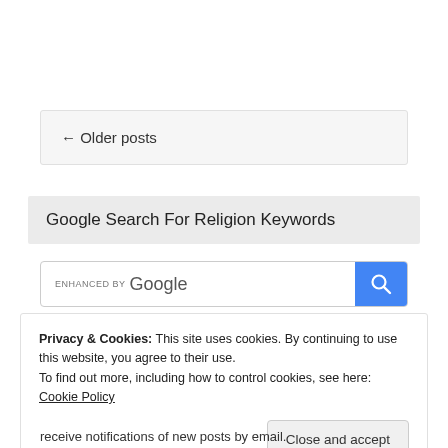← Older posts
Google Search For Religion Keywords
[Figure (screenshot): Search bar with 'ENHANCED BY Google' label and blue search button with magnifying glass icon]
Privacy & Cookies: This site uses cookies. By continuing to use this website, you agree to their use.
To find out more, including how to control cookies, see here: Cookie Policy
Close and accept
receive notifications of new posts by email.